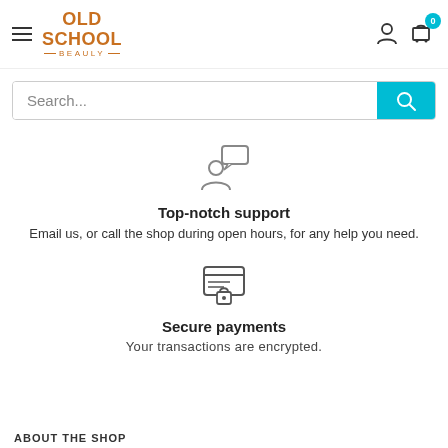[Figure (logo): Old School Beauly brand logo with hamburger menu icon on left]
[Figure (screenshot): Search bar with teal search button and magnifying glass icon]
[Figure (illustration): Support icon: person silhouette with speech bubble]
Top-notch support
Email us, or call the shop during open hours, for any help you need.
[Figure (illustration): Secure payments icon: credit card with lock]
Secure payments
Your transactions are encrypted.
ABOUT THE SHOP